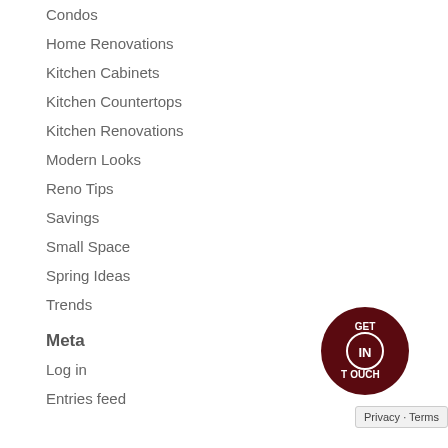Condos
Home Renovations
Kitchen Cabinets
Kitchen Countertops
Kitchen Renovations
Modern Looks
Reno Tips
Savings
Small Space
Spring Ideas
Trends
Meta
Log in
Entries feed
[Figure (logo): Dark red circular badge with text GET IN TOUCH arranged in a circle]